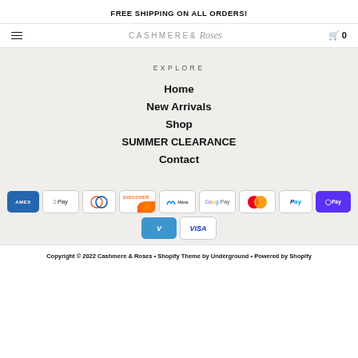FREE SHIPPING ON ALL ORDERS!
CASHMERE & Roses  ≡  🛒 0
EXPLORE
Home
New Arrivals
Shop
SUMMER CLEARANCE
Contact
[Figure (other): Payment method icons: American Express, Apple Pay, Diners Club, Discover, Meta Pay, Google Pay, Mastercard, PayPal, Shop Pay, Venmo, Visa]
Copyright © 2022 Cashmere & Roses • Shopify Theme by Underground • Powered by Shopify